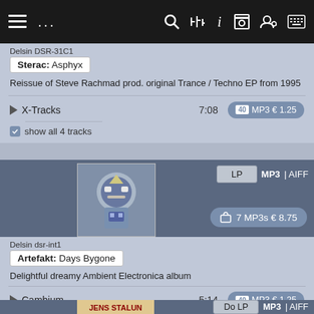Navigation bar with menu, search, equalizer, info, archive, user settings, keyboard icons
Delsin DSR-31C1
Sterac: Asphyx
Reissue of Steve Rachmad prod. original Trance / Techno EP from 1995
X-Tracks  7:08  MP3 €1.25
show all 4 tracks
[Figure (photo): Album cover art showing a stylized robot/alien figure with geometric patterns in blue and grey tones]
LP  MP3 | AIFF
7 MP3s €8.75
Delsin dsr-int1
Artefakt: Days Bygone
Delightful dreamy Ambient Electronica album
Cambium  5:14  MP3 €1.25
show all 7 tracks
Do LP  MP3 | AIFF